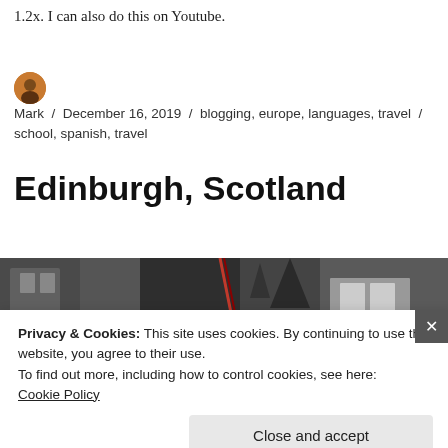1.2x. I can also do this on Youtube.
Mark / December 16, 2019 / blogging, europe, languages, travel / school, spanish, travel
Edinburgh, Scotland
[Figure (photo): Partial photo of Edinburgh street scene with dark architectural elements]
Privacy & Cookies: This site uses cookies. By continuing to use this website, you agree to their use.
To find out more, including how to control cookies, see here: Cookie Policy
Close and accept